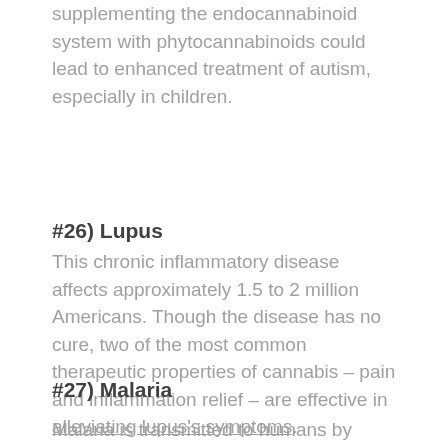supplementing the endocannabinoid system with phytocannabinoids could lead to enhanced treatment of autism, especially in children.
#26) Lupus
This chronic inflammatory disease affects approximately 1.5 to 2 million Americans. Though the disease has no cure, two of the most common therapeutic properties of cannabis – pain and inflammation relief – are effective in alleviating lupus's symptoms.
#27) Malaria
Malaria is transmitted to humans by mosquitos and may result in everything from blood vessel clogs to